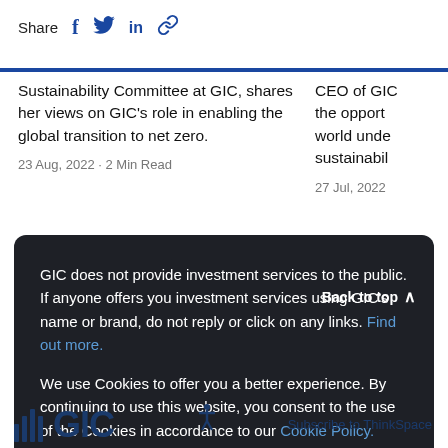Share
Sustainability Committee at GIC, shares her views on GIC's role in enabling the global transition to net zero.
23 Aug, 2022 · 2 Min Read
CEO of GIC the opport world unde sustainabil
27 Jul, 2022
GIC does not provide investment services to the public. If anyone offers you investment services using GIC's name or brand, do not reply or click on any links. Find out more.

We use Cookies to offer you a better experience. By continuing to use this website, you consent to the use of the Cookies in accordance to our Cookie Policy.
Back to top
Accept
Subscribe to ThinkSpace
[Figure (logo): GIC logo with vertical bar icon and bold GIC text in dark navy blue]